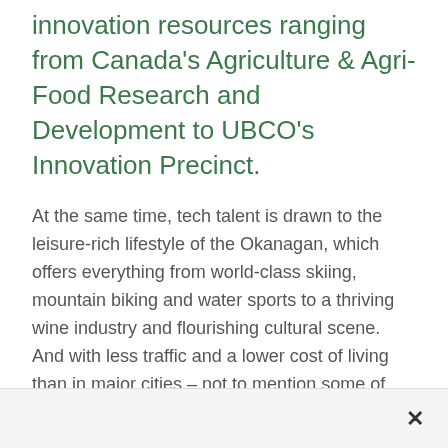innovation resources ranging from Canada's Agriculture & Agri-Food Research and Development to UBCO's Innovation Precinct.
At the same time, tech talent is drawn to the leisure-rich lifestyle of the Okanagan, which offers everything from world-class skiing, mountain biking and water sports to a thriving wine industry and flourishing cultural scene. And with less traffic and a lower cost of living than in major cities – not to mention some of Canada's best weather – tech workers and executives get more enjoyment out of their spare time and money.
Top talent is also being produced by UBC's Okanagan campus and Okanagan College, with Kelowna and Vernon home to multimillion-dollar